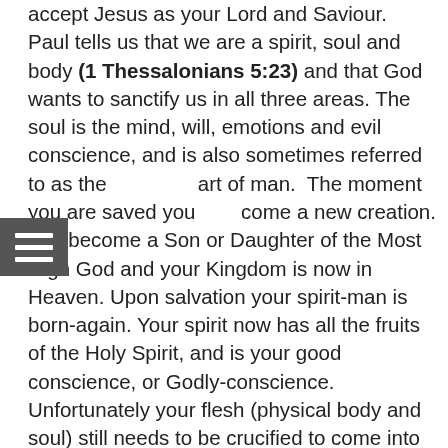accept Jesus as your Lord and Saviour. Paul tells us that we are a spirit, soul and body (1 Thessalonians 5:23) and that God wants to sanctify us in all three areas. The soul is the mind, will, emotions and evil conscience, and is also sometimes referred to as the art of man. The moment you are saved you become a new creation. You become a Son or Daughter of the Most High God and your Kingdom is now in Heaven. Upon salvation your spirit-man is born-again. Your spirit now has all the fruits of the Holy Spirit, and is your good conscience, or Godly-conscience. Unfortunately your flesh (physical body and soul) still needs to be crucified to come into alignment with the born-again spirit. Who hath also sealed us, and given the earnest of the Spirit in our hearts (2 Corinthians 1:22, KJV). The word 'sealed us' in Greek is Sphragizo and means to 1) to set a seal upon, mark with a seal, to seal. The word 'the earnest' (of the Spirit) in Greek is Arrhabon and means 1) an earnest 1a) money which in purchases is given as a pledge or down payment that the full amount will subsequently be paid. We see by this